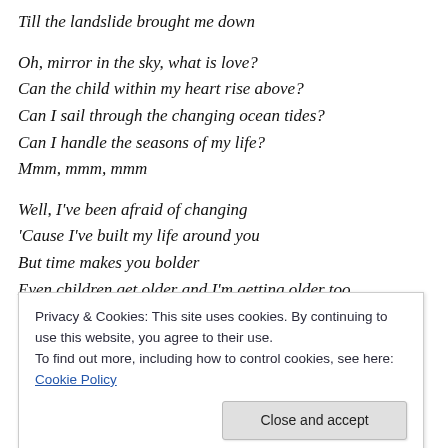Till the landslide brought me down
Oh, mirror in the sky, what is love?
Can the child within my heart rise above?
Can I sail through the changing ocean tides?
Can I handle the seasons of my life?
Mmm, mmm, mmm
Well, I've been afraid of changing
'Cause I've built my life around you
But time makes you bolder
Even children get older and I'm getting older too
Privacy & Cookies: This site uses cookies. By continuing to use this website, you agree to their use.
To find out more, including how to control cookies, see here: Cookie Policy
Oh, I'm getting older too